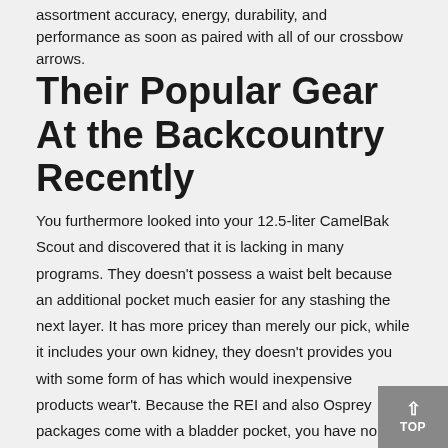assortment accuracy, energy, durability, and performance as soon as paired with all of our crossbow arrows.
Their Popular Gear At the Backcountry Recently
You furthermore looked into your 12.5-liter CamelBak Scout and discovered that it is lacking in many programs. They doesn't possess a waist belt because an additional pocket much easier for any stashing the next layer. It has more pricey than merely our pick, while it includes your own kidney, they doesn't provides you with some form of has which would inexpensive products wear't. Because the REI and also Osprey packages come with a bladder pocket, you have no benefit to purchase optimal CamelBak-brand pack even if you wish to make use of one